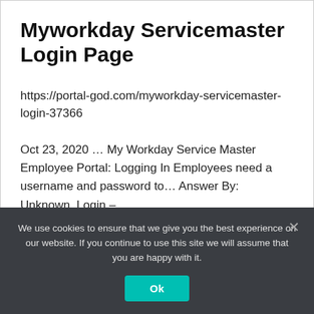Myworkday Servicemaster Login Page
https://portal-god.com/myworkday-servicemaster-login-37366
Oct 23, 2020 … My Workday Service Master Employee Portal: Logging In Employees need a username and password to… Answer By: Unknown. Login –
We use cookies to ensure that we give you the best experience on our website. If you continue to use this site we will assume that you are happy with it.